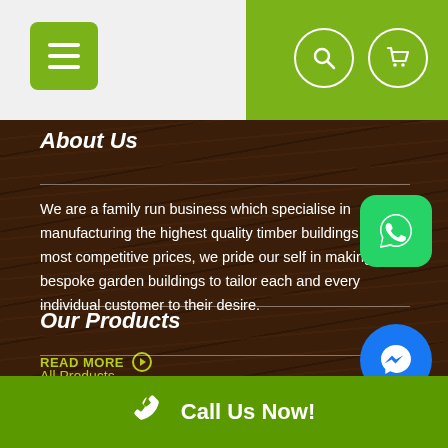[Figure (screenshot): Website header with hamburger menu button on left (green square), light gray background in center, olive/green background on right with search and cart icon circles]
About Us
We are a family run business which specialise in manufacturing the highest quality timber buildings at the most competitive prices, we pride our self in making bespoke garden buildings to tailor each and every individual customer to their desire.
READ MORE
Our Products
All Products
[Figure (logo): WhatsApp icon button - green rounded square with white phone/chat bubble icon]
[Figure (logo): Facebook Messenger icon button - blue circle with white lightning bolt messenger logo]
Call Us Now!